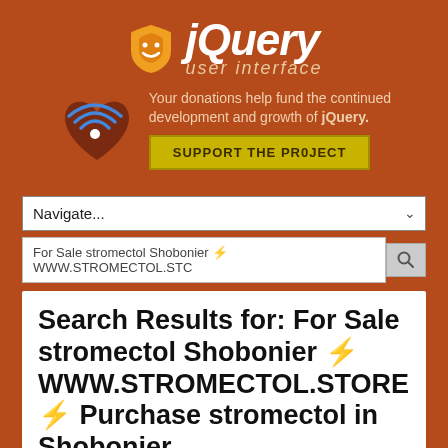[Figure (logo): jQuery UI logo with orange shield icon and white italic text reading 'jQuery' with 'user interface' subtitle below]
Your donations help fund the continued development and growth of jQuery.
SUPPORT THE PROJECT
Navigate...
For Sale stromectol Shobonier ⚡ WWW.STROMECTOL.STC
Search Results for: For Sale stromectol Shobonier ⚡ WWW.STROMECTOL.STORE ⚡ Purchase stromectol in Shobonier